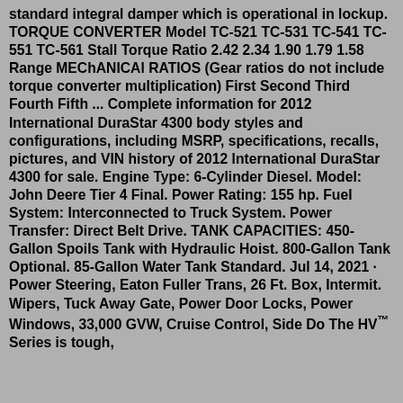standard integral damper which is operational in lockup. TORQUE CONVERTER Model TC-521 TC-531 TC-541 TC-551 TC-561 Stall Torque Ratio 2.42 2.34 1.90 1.79 1.58 Range MEChANICAl RATIOS (Gear ratios do not include torque converter multiplication) First Second Third Fourth Fifth ... Complete information for 2012 International DuraStar 4300 body styles and configurations, including MSRP, specifications, recalls, pictures, and VIN history of 2012 International DuraStar 4300 for sale. Engine Type: 6-Cylinder Diesel. Model: John Deere Tier 4 Final. Power Rating: 155 hp. Fuel System: Interconnected to Truck System. Power Transfer: Direct Belt Drive. TANK CAPACITIES: 450-Gallon Spoils Tank with Hydraulic Hoist. 800-Gallon Tank Optional. 85-Gallon Water Tank Standard. Jul 14, 2021 · Power Steering, Eaton Fuller Trans, 26 Ft. Box, Intermit. Wipers, Tuck Away Gate, Power Door Locks, Power Windows, 33,000 GVW, Cruise Control, Side Do The HV™ Series is tough, but certainly not to be doing especially with...